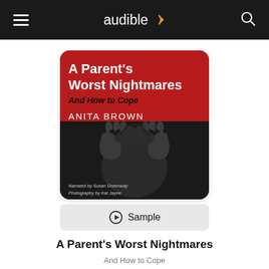audible
[Figure (illustration): Audiobook cover for 'A Parent's Worst Nightmares: And How to Cope' by Anita Brown. Red and black cover with bold white title text, italic subtitle 'And How to Cope', author name 'ANITA BROWN' in white letters, and a black-and-white photograph of a distressed person with hands clutching their head. Small text at bottom: 'Narrated by Susan Greenway, Photography by Kat Jayne'.]
▶ Sample
A Parent's Worst Nightmares
And How to Cope